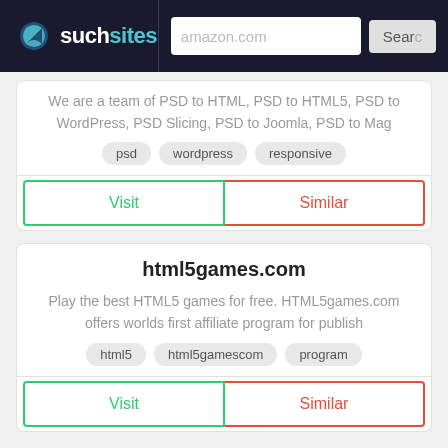such sites | amazon.com | Search
We are a team of PSD to HTML, PSD to HTML5, PSD to WordPress, PSD Slicing, PSD to Joomla, PSD to Mag
psd  wordpress  responsive
Visit  Similar
html5games.com
Play the best HTML5 games for free. HTML5games.com offers worlds first affiliate program for publish
html5  html5gamescom  program
Visit  Similar